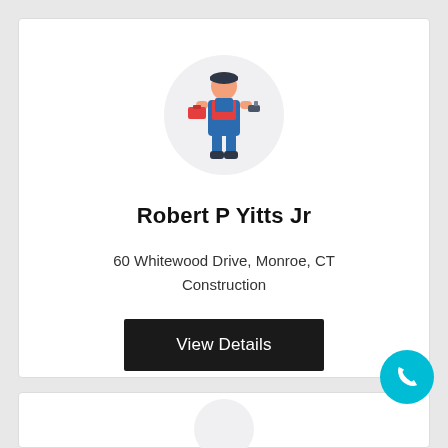[Figure (illustration): Circular avatar icon showing a construction worker in blue overalls and orange shirt holding a toolbox and drill tool]
Robert P Yitts Jr
60 Whitewood Drive, Monroe, CT
Construction
View Details
[Figure (illustration): Cyan/teal circular phone call button (FAB) with white phone handset icon]
[Figure (illustration): Partial second card visible at bottom with circular avatar placeholder]